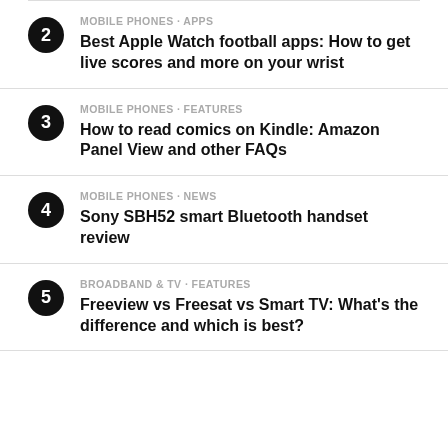MOBILE PHONES · APPS
Best Apple Watch football apps: How to get live scores and more on your wrist
MOBILE PHONES · FEATURES
How to read comics on Kindle: Amazon Panel View and other FAQs
MOBILE PHONES · NEWS
Sony SBH52 smart Bluetooth handset review
BROADBAND & TV · FEATURES
Freeview vs Freesat vs Smart TV: What's the difference and which is best?